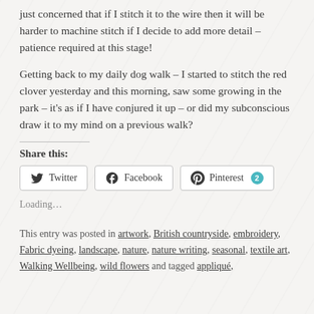just concerned that if I stitch it to the wire then it will be harder to machine stitch if I decide to add more detail – patience required at this stage!
Getting back to my daily dog walk – I started to stitch the red clover yesterday and this morning, saw some growing in the park – it's as if I have conjured it up – or did my subconscious draw it to my mind on a previous walk?
Share this:
Twitter | Facebook | Pinterest 2
Loading...
This entry was posted in artwork, British countryside, embroidery, Fabric dyeing, landscape, nature, nature writing, seasonal, textile art, Walking Wellbeing, wild flowers and tagged appliqué,